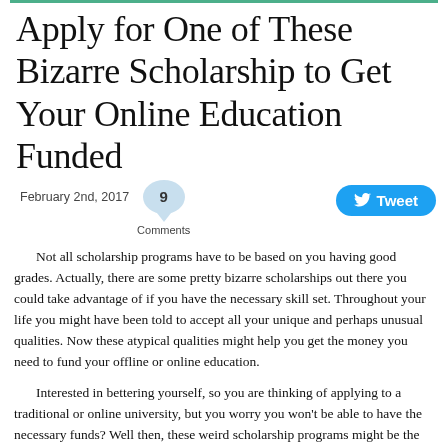Apply for One of These Bizarre Scholarship to Get Your Online Education Funded
February 2nd, 2017   9 Comments   Tweet
Not all scholarship programs have to be based on you having good grades. Actually, there are some pretty bizarre scholarships out there you could take advantage of if you have the necessary skill set. Throughout your life you might have been told to accept all your unique and perhaps unusual qualities. Now these atypical qualities might help you get the money you need to fund your offline or online education.
Interested in bettering yourself, so you are thinking of applying to a traditional or online university, but you worry you won't be able to have the necessary funds? Well then, these weird scholarship programs might be the answer you're looking for. We have compiled a list of the strangest bursaries we could find online to help you get started in your search.